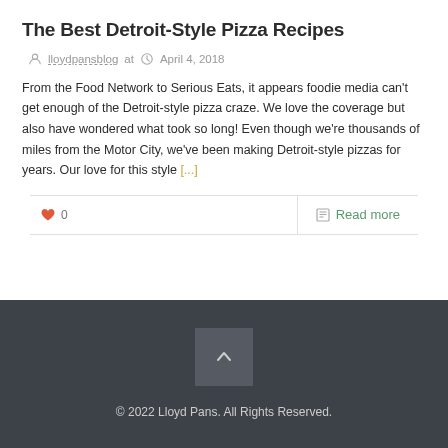The Best Detroit-Style Pizza Recipes
lloydpansblog at April 4, 2018
From the Food Network to Serious Eats, it appears foodie media can't get enough of the Detroit-style pizza craze. We love the coverage but also have wondered what took so long! Even though we're thousands of miles from the Motor City, we've been making Detroit-style pizzas for years. Our love for this style [...]
0   Read more
© 2022 Lloyd Pans. All Rights Reserved.